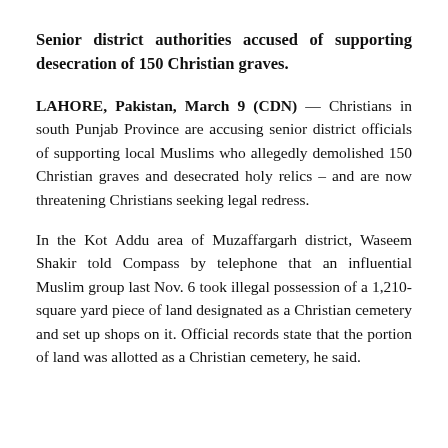Senior district authorities accused of supporting desecration of 150 Christian graves.
LAHORE, Pakistan, March 9 (CDN) — Christians in south Punjab Province are accusing senior district officials of supporting local Muslims who allegedly demolished 150 Christian graves and desecrated holy relics – and are now threatening Christians seeking legal redress.
In the Kot Addu area of Muzaffargarh district, Waseem Shakir told Compass by telephone that an influential Muslim group last Nov. 6 took illegal possession of a 1,210-square yard piece of land designated as a Christian cemetery and set up shops on it. Official records state that the portion of land was allotted as a Christian cemetery, he said.